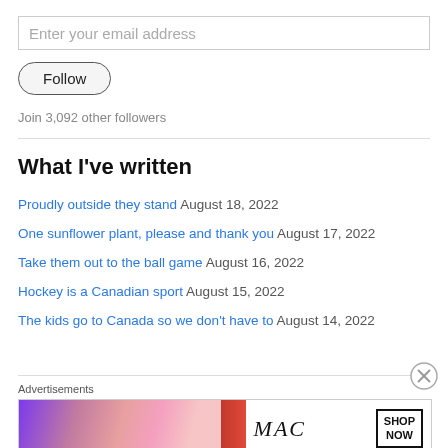Enter your email address
Follow
Join 3,092 other followers
What I've written
Proudly outside they stand August 18, 2022
One sunflower plant, please and thank you August 17, 2022
Take them out to the ball game August 16, 2022
Hockey is a Canadian sport August 15, 2022
The kids go to Canada so we don't have to August 14, 2022
[Figure (screenshot): MAC cosmetics advertisement banner with lipsticks and SHOP NOW button]